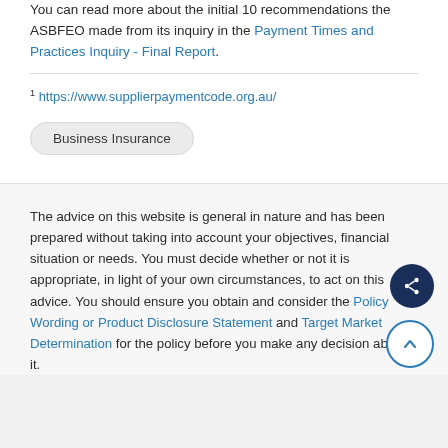You can read more about the initial 10 recommendations the ASBFEO made from its inquiry in the Payment Times and Practices Inquiry - Final Report.
1 https://www.supplierpaymentcode.org.au/
Business Insurance
The advice on this website is general in nature and has been prepared without taking into account your objectives, financial situation or needs. You must decide whether or not it is appropriate, in light of your own circumstances, to act on this advice. You should ensure you obtain and consider the Policy Wording or Product Disclosure Statement and Target Market Determination for the policy before you make any decision about it.